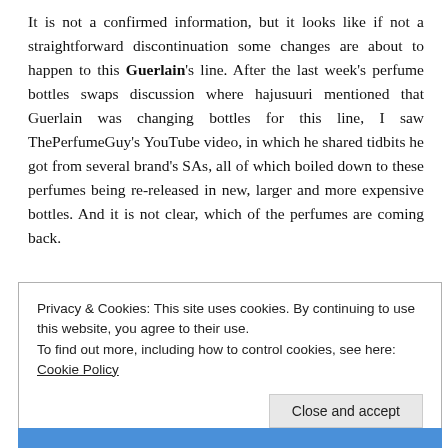It is not a confirmed information, but it looks like if not a straightforward discontinuation some changes are about to happen to this Guerlain's line. After the last week's perfume bottles swaps discussion where hajusuuri mentioned that Guerlain was changing bottles for this line, I saw ThePerfumeGuy's YouTube video, in which he shared tidbits he got from several brand's SAs, all of which boiled down to these perfumes being re-released in new, larger and more expensive bottles. And it is not clear, which of the perfumes are coming back.
Privacy & Cookies: This site uses cookies. By continuing to use this website, you agree to their use. To find out more, including how to control cookies, see here: Cookie Policy
Close and accept